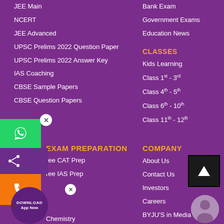JEE Main
NCERT
JEE Advanced
UPSC Prelims 2022 Question Paper
UPSC Prelims 2022 Answer Key
IAS Coaching
CBSE Sample Papers
CBSE Question Papers
Bank Exam
Government Exams
Education News
CLASSES
Kids Learning
Class 1st - 3rd
Class 4th - 5th
Class 6th - 10th
Class 11th - 12th
EXAM PREPARATION
Free CAT Prep
Free IAS Prep
Chemistry
COMPANY
About Us
Contact Us
Investors
Careers
BYJU'S in Media